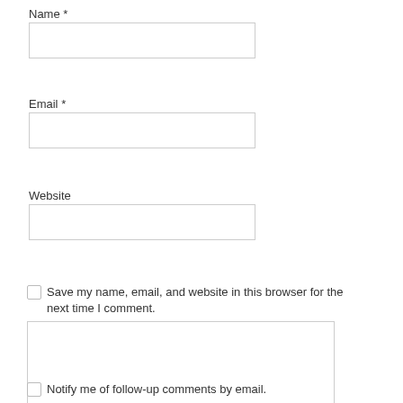Name *
Email *
Website
Save my name, email, and website in this browser for the next time I comment.
Notify me of follow-up comments by email.